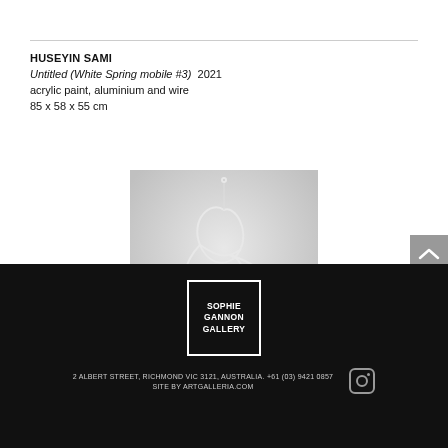HUSEYIN SAMI
Untitled (White Spring mobile #3)  2021
acrylic paint, aluminium and wire
85 x 58 x 55 cm
[Figure (photo): Photograph of a white wire sculpture against a light grey background. The sculpture is made of looping wire forms resembling abstract organic shapes.]
[Figure (logo): Sophie Gannon Gallery logo — white text in a white-bordered square on black background]
2 ALBERT STREET, RICHMOND VIC 3121, AUSTRALIA. +61 (03) 9421 0857
SITE BY ARTGALLERIA.COM